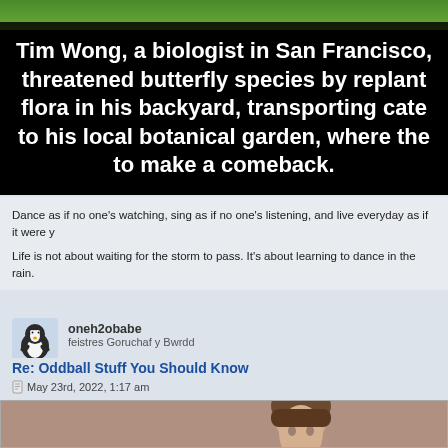[Figure (photo): Nature/garden background at top of image banner with black overlay containing white bold text about Tim Wong, a biologist in San Francisco restoring a threatened butterfly species]
Tim Wong, a biologist in San Francisco, threatened butterfly species by replant flora in his backyard, transporting cate to his local botanical garden, where the to make a comeback.
Dance as if no one's watching, sing as if no one's listening, and live everyday as if it were y
Life is not about waiting for the storm to pass. It's about learning to dance in the rain.
oneh2obabe
feistres Goruchaf y Bwrdd
Re: Oddball Stuff You Should Know
May 23rd, 2022, 1:17 am
[Figure (photo): Vintage-style portrait photo of a man with brown hair, partially cropped at the bottom of the page]